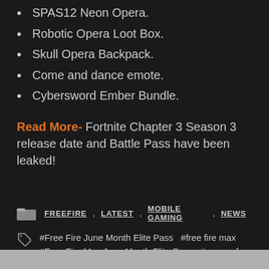SPAS12 Neon Opera.
Robotic Opera Loot Box.
Skull Opera Backpack.
Come and dance emote.
Cybersword Ember Bundle.
Read More- Fortnite Chapter 3 Season 3 release date and Battle Pass have been leaked!
FREEFIRE  LATEST  MOBILE GAMING  NEWS
#Free Fire June Month Elite Pass  #free fire max  #Free Fire Max June Month Elite Pass  #garena free fire  #garena free fire max